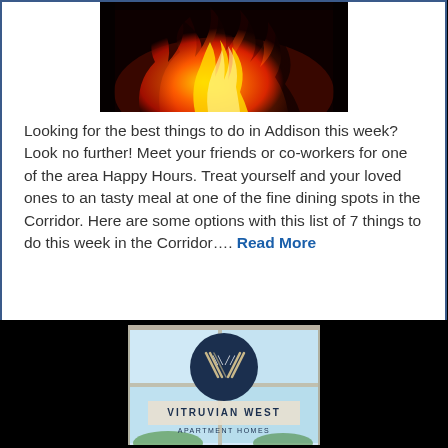[Figure (photo): Fire/flames photo at the top of the content card]
Looking for the best things to do in Addison this week? Look no further! Meet your friends or co-workers for one of the area Happy Hours. Treat yourself and your loved ones to an tasty meal at one of the fine dining spots in the Corridor. Here are some options with this list of 7 things to do this week in the Corridor.... Read More
[Figure (logo): Vitruvian West Apartment Homes advertisement logo with window background]